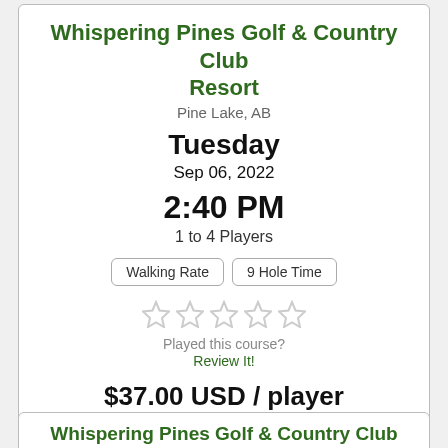Whispering Pines Golf & Country Club Resort
Pine Lake, AB
Tuesday
Sep 06, 2022
2:40 PM
1 to 4 Players
Walking Rate | 9 Hole Time
[Figure (other): 5 empty star rating icons]
Played this course?
Review It!
$37.00 USD / player
Book Now
Whispering Pines Golf & Country Club